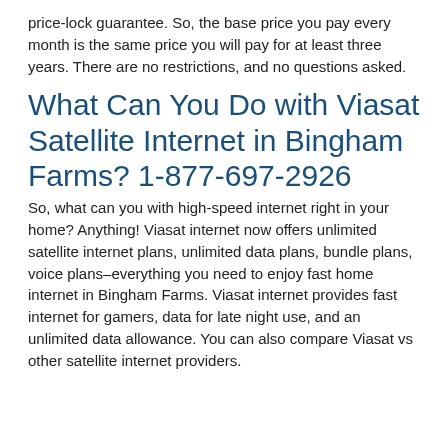price-lock guarantee. So, the base price you pay every month is the same price you will pay for at least three years. There are no restrictions, and no questions asked.
What Can You Do with Viasat Satellite Internet in Bingham Farms? 1-877-697-2926
So, what can you with high-speed internet right in your home? Anything! Viasat internet now offers unlimited satellite internet plans, unlimited data plans, bundle plans, voice plans–everything you need to enjoy fast home internet in Bingham Farms. Viasat internet provides fast internet for gamers, data for late night use, and an unlimited data allowance. You can also compare Viasat vs other satellite internet providers.